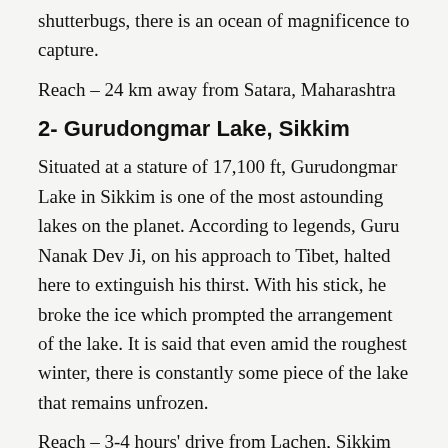shutterbugs, there is an ocean of magnificence to capture.
Reach – 24 km away from Satara, Maharashtra
2- Gurudongmar Lake, Sikkim
Situated at a stature of 17,100 ft, Gurudongmar Lake in Sikkim is one of the most astounding lakes on the planet. According to legends, Guru Nanak Dev Ji, on his approach to Tibet, halted here to extinguish his thirst. With his stick, he broke the ice which prompted the arrangement of the lake. It is said that even amid the roughest winter, there is constantly some piece of the lake that remains unfrozen.
Reach – 3-4 hours' drive from Lachen, Sikkim
3- Ziro, Arunachal Pradesh